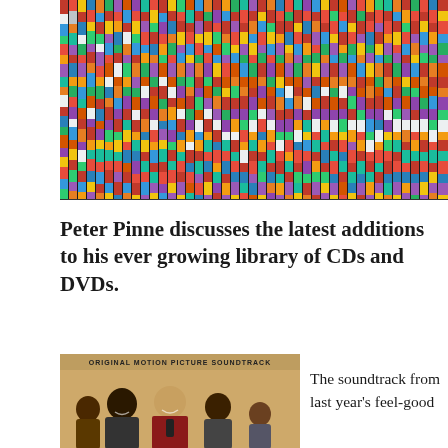[Figure (photo): A large collection of CDs and DVDs stacked on shelves, showing colorful spines of many discs arranged in rows.]
Peter Pinne discusses the latest additions to his ever growing library of CDs and DVDs.
[Figure (photo): Album cover for an Original Motion Picture Soundtrack featuring a group of people posing together.]
The soundtrack from last year's feel-good ...